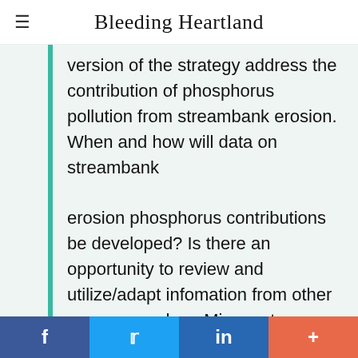Bleeding Heartland
version of the strategy address the contribution of phosphorus pollution from streambank erosion. When and how will data on streambank erosion phosphorus contributions be developed? Is there an opportunity to review and utilize/adapt infomation from other sources, such as Minnesota presented at the Davenport Workshop, to determine
f  •  in  •  +